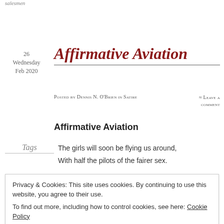salesmen
26
Wednesday
Feb 2020
Affirmative Aviation
Posted by Dennis N. O'Brien in Satire
≈ Leave a comment
Affirmative Aviation
Tags
The girls will soon be flying us around,
With half the pilots of the fairer sex.
Privacy & Cookies: This site uses cookies. By continuing to use this website, you agree to their use.
To find out more, including how to control cookies, see here: Cookie Policy
Close and accept